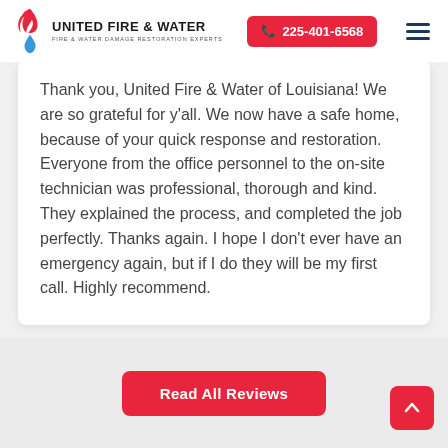[Figure (logo): United Fire & Water logo with flame and water drop icon, company name in bold uppercase, tagline 'Fire & Water Damage Restoration Experts']
225-401-6568
Thank you, United Fire & Water of Louisiana! We are so grateful for y'all. We now have a safe home, because of your quick response and restoration. Everyone from the office personnel to the on-site technician was professional, thorough and kind. They explained the process, and completed the job perfectly. Thanks again. I hope I don't ever have an emergency again, but if I do they will be my first call. Highly recommend.
Read All Reviews